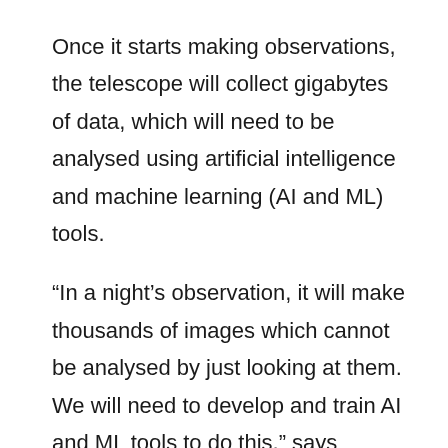Once it starts making observations, the telescope will collect gigabytes of data, which will need to be analysed using artificial intelligence and machine learning (AI and ML) tools.
“In a night’s observation, it will make thousands of images which cannot be analysed by just looking at them. We will need to develop and train AI and ML tools to do this,” says Dipankar Banerjee, Director of the ARIES Observatory.
With the monsoon expected soon in the area, the real observations may start only in October, after the rains, according to Dr. Banerjee.